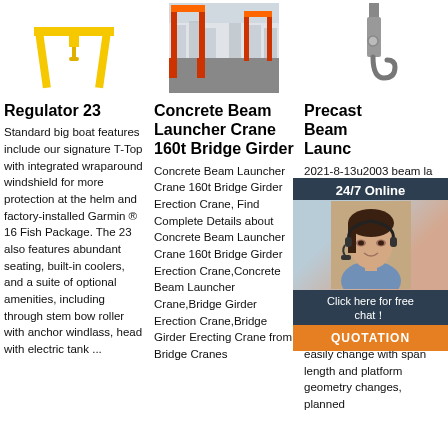[Figure (photo): Yellow A-frame gantry crane on white background]
[Figure (photo): Red and orange bridge girder crane at industrial site]
[Figure (photo): Hook or lifting equipment on white background]
Regulator 23
Standard big boat features include our signature T-Top with integrated wraparound windshield for more protection at the helm and factory-installed Garmin ® 16 Fish Package. The 23 also features abundant seating, built-in coolers, and a suite of optional amenities, including through stem bow roller with anchor windlass, head with electric tank ...
Concrete Beam Launcher Crane 160t Bridge Girder
Concrete Beam Launcher Crane 160t Bridge Girder Erection Crane, Find Complete Details about Concrete Beam Launcher Crane 160t Bridge Girder Erection Crane,Concrete Beam Launcher Crane,Bridge Girder Erection Crane,Bridge Girder Erecting Crane from Bridge Cranes
Precast Beam Launcher
2021-8-13u2003 beam launchers light self machine include trusses. Heavy specializing designing a precast beam launching for Mumbai Highway Project. Precast beam launching emitters easily change with span length and platform geometry changes, planned
[Figure (screenshot): 24/7 Online chat widget with customer service agent photo, Click here for free chat! and QUOTATION button]